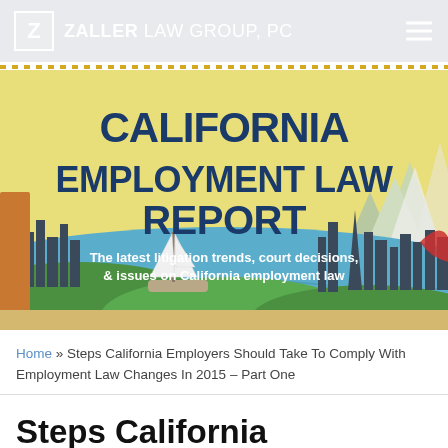ZALLER LAW GROUP, PC
[Figure (illustration): California Employment Law Report banner with illustrated California cityscape, sailboat, mountains, bay, and large bold text reading 'CALIFORNIA EMPLOYMENT LAW REPORT' with subtitle 'The latest litigation trends, court decisions, & issues on California employment law']
Home » Steps California Employers Should Take To Comply With Employment Law Changes In 2015 – Part One
Steps California employers